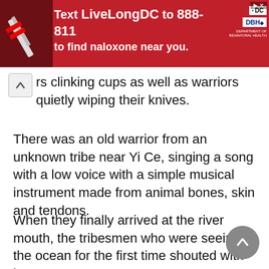[Figure (infographic): Red advertisement banner: 'Text LiveLongDC to 888-811 to find naloxone near you.' with DC and DBH logos, and a syringe image on the left side.]
rs clinking cups as well as warriors quietly wiping their knives.
There was an old warrior from an unknown tribe near Yi Ce, singing a song with a low voice with a simple musical instrument made from animal bones, skin and tendons.
When they finally arrived at the river mouth, the tribesmen who were seeing the ocean for the first time shouted with joy.
At the river mouth, more Longboats were waiting. When both fleets gathered, they